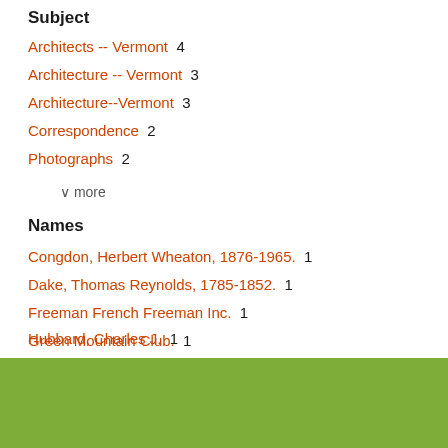Subject
Architects -- Vermont  4
Architecture -- Vermont  3
Architecture--Vermont  3
Correspondence  2
Photographs  2
∨ more
Names
Congdon, Herbert Wheaton, 1876-1965.  1
Dake, Thomas Reynolds, 1785-1852.  1
Freeman French Freeman Inc.  1
Green Mountain Club.  1
Hubbard, Charles J.  1
∨ more
LIBRARY QUICK LINKS
About Special Collections and University Archives